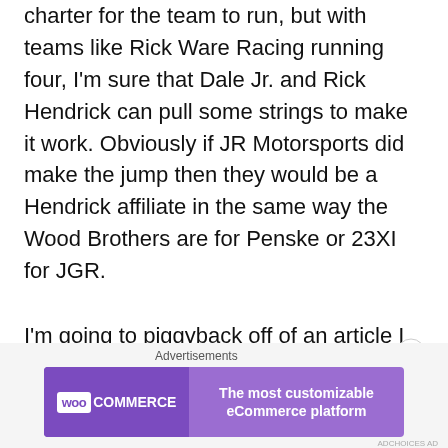charter for the team to run, but with teams like Rick Ware Racing running four, I'm sure that Dale Jr. and Rick Hendrick can pull some strings to make it work. Obviously if JR Motorsports did make the jump then they would be a Hendrick affiliate in the same way the Wood Brothers are for Penske or 23XI for JGR.
I'm going to piggyback off of an article I posted on tuesday discussing the realistic possibility of Brad Keselowski leaving Penske. If that was the case, Stewart-Haas was the most likely fit, but
[Figure (other): WooCommerce advertisement banner: purple gradient background, WooCommerce logo on left, tagline 'The most customizable eCommerce platform' on right]